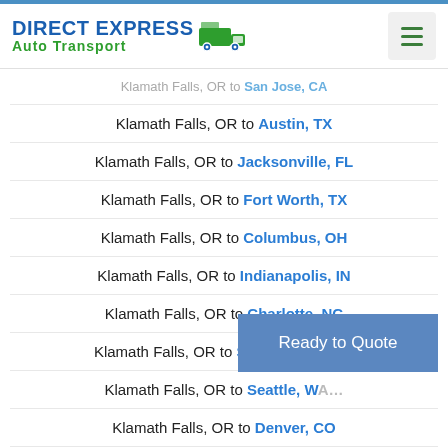Direct Express Auto Transport
Klamath Falls, OR to San Jose, CA
Klamath Falls, OR to Austin, TX
Klamath Falls, OR to Jacksonville, FL
Klamath Falls, OR to Fort Worth, TX
Klamath Falls, OR to Columbus, OH
Klamath Falls, OR to Indianapolis, IN
Klamath Falls, OR to Charlotte, NC
Klamath Falls, OR to San Francisco, CA
Klamath Falls, OR to Seattle, WA
Klamath Falls, OR to Denver, CO
Ready to Quote